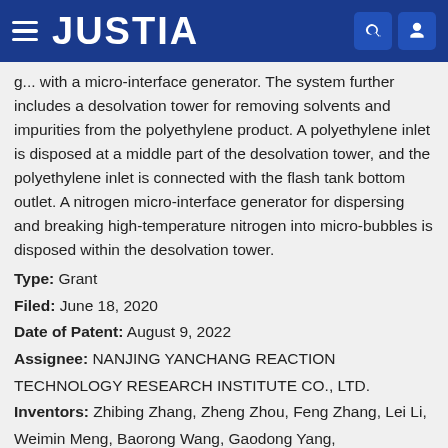JUSTIA
g... with a micro-interface generator. The system further includes a desolvation tower for removing solvents and impurities from the polyethylene product. A polyethylene inlet is disposed at a middle part of the desolvation tower, and the polyethylene inlet is connected with the flash tank bottom outlet. A nitrogen micro-interface generator for dispersing and breaking high-temperature nitrogen into micro-bubbles is disposed within the desolvation tower.
Type: Grant
Filed: June 18, 2020
Date of Patent: August 9, 2022
Assignee: NANJING YANCHANG REACTION TECHNOLOGY RESEARCH INSTITUTE CO., LTD.
Inventors: Zhibing Zhang, Zheng Zhou, Feng Zhang, Lei Li, Weimin Meng, Baorong Wang, Gaodong Yang,